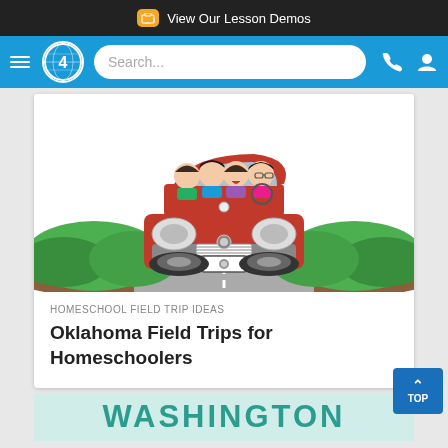View Our Lesson Demos
[Figure (screenshot): Navigation bar with hamburger menu, Time4Learning logo (number 4 with globe), search bar, phone icon, and user icon on blue background]
[Figure (illustration): Cartoon illustration of a family of four in a red car driving on a road, with green bushes and brown ground on either side]
HOMESCHOOL FIELD TRIP IDEAS
Oklahoma Field Trips for Homeschoolers
[Figure (screenshot): Partial view of a Washington state card with teal/mint background and large teal WASHINGTON text]